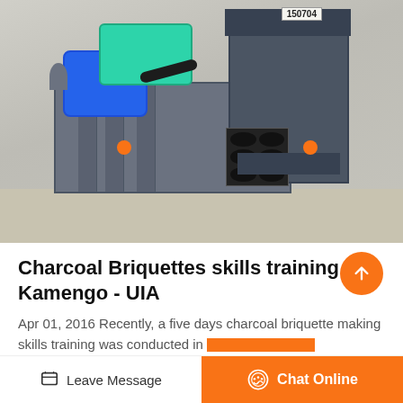[Figure (photo): A charcoal briquette making machine with a blue electric motor, teal belt cover, gray metal body, and hexagonal mold output head, photographed on a concrete floor.]
Charcoal Briquettes skills training in Kamengo - UIA
Apr 01, 2016 Recently, a five days charcoal briquette making skills training was conducted in...
Leave Message
Chat Online